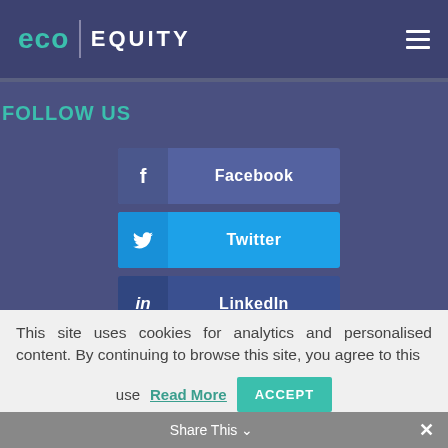eco | EQUITY
FOLLOW US
Facebook
Twitter
LinkedIn
This site uses cookies for analytics and personalised content. By continuing to browse this site, you agree to this use
Read More  ACCEPT
Share This